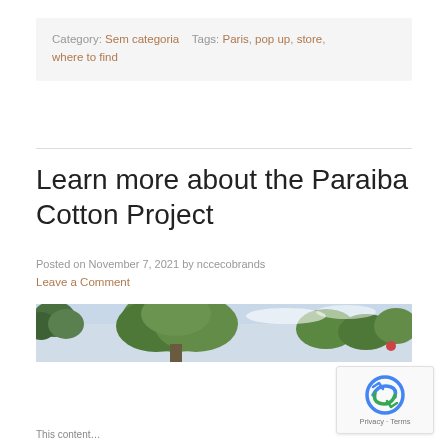Category: Sem categoria   Tags: Paris, pop up, store, where to find
Learn more about the Paraiba Cotton Project
Posted on November 7, 2021 by nccecobrands
Leave a Comment
[Figure (photo): Outdoor photo showing green trees against a light sky background]
This content...